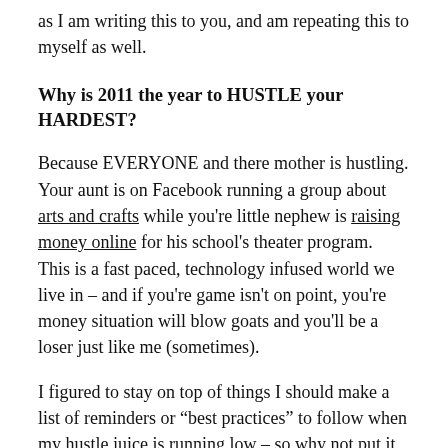as I am writing this to you, and am repeating this to myself as well.
Why is 2011 the year to HUSTLE your HARDEST?
Because EVERYONE and there mother is hustling. Your aunt is on Facebook running a group about arts and crafts while you're little nephew is raising money online for his school's theater program.  This is a fast paced, technology infused world we live in – and if you're game isn't on point, you're money situation will blow goats and you'll be a loser just like me (sometimes).
I figured to stay on top of things I should make a list of reminders or “best practices” to follow when my hustle juice is running low – so why not put it up on the blog and share it with the best readers in the world (that would be you)?